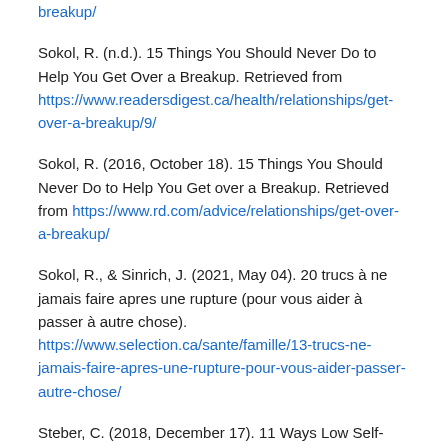breakup/
Sokol, R. (n.d.). 15 Things You Should Never Do to Help You Get Over a Breakup. Retrieved from https://www.readersdigest.ca/health/relationships/get-over-a-breakup/9/
Sokol, R. (2016, October 18). 15 Things You Should Never Do to Help You Get over a Breakup. Retrieved from https://www.rd.com/advice/relationships/get-over-a-breakup/
Sokol, R., & Sinrich, J. (2021, May 04). 20 trucs à ne jamais faire apres une rupture (pour vous aider à passer à autre chose). https://www.selection.ca/sante/famille/13-trucs-ne-jamais-faire-apres-une-rupture-pour-vous-aider-passer-autre-chose/
Steber, C. (2018, December 17). 11 Ways Low Self-Esteem Affects Your Relationship. Retrieved from